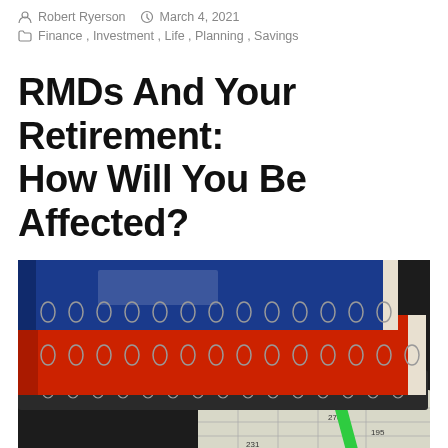Robert Ryerson   March 4, 2021
Finance, Investment, Life, Planning, Savings
RMDs And Your Retirement: How Will You Be Affected?
[Figure (photo): Stack of spiral-bound notebooks in blue and red colors, with a green pen and a spreadsheet/ledger visible in the foreground background]